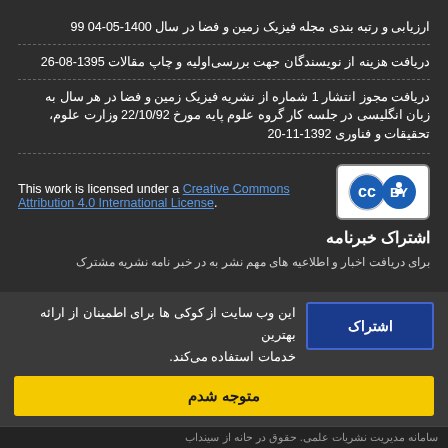ارزیابی و رتبه بندی مجله فیزیک زمین و فضا در سال 1400-05-04 99
دریافت هزینه از نویسندگان جهت بررسی اولیه و چاپ مقالات 1395-08-26
دریافت مجوز انتشار 1 شماره از نشریه فیزیک زمین و فضا در هر سال به زبان انگلیسی در جلسه کار گروه علوم پایه مورخ 22/10/92 وزارت علوم، تحقیقات و فناوری 1392-11-20
[Figure (logo): Creative Commons CC BY license badge]
This work is licensed under a Creative Commons Attribution 4.0 International License.
اشتراک خبرنامه
برای دریافت اخبار و اطلاعیه های مهم نشر به در خبر نامه نشریه مشترک
این وب سایت از کوکی ها برای اطمینان از ارائه بهترین خدمات استفاده می‌کند.
متوجه شدم
سامانه مدیریت نشریات علمی. حقوق در حانه از سینداب